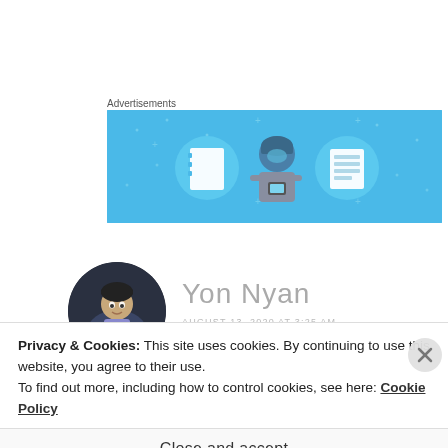Advertisements
[Figure (illustration): Advertisement banner with light blue background showing an illustrated person holding a phone, flanked by two circular icons containing notebook/list graphics]
[Figure (photo): Circular avatar photo of author Yon Nyan, dark illustrated character]
Yon Nyan
AUGUST 13, 2020 AT 3:25 AM
Privacy & Cookies: This site uses cookies. By continuing to use this website, you agree to their use.
To find out more, including how to control cookies, see here: Cookie Policy
Close and accept